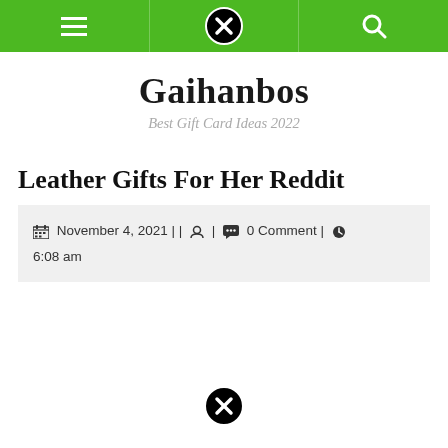Gaihanbos — navigation bar with hamburger menu, close button, and search icon
Gaihanbos
Best Gift Card Ideas 2022
Leather Gifts For Her Reddit
November 4, 2021 | | 👤 | 💬 0 Comment | 🕒 6:08 am